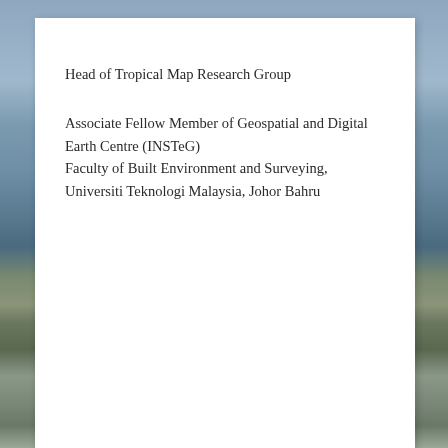Head of Tropical Map Research Group
Associate Fellow Member of Geospatial and Digital Earth Centre (INSTeG)
Faculty of Built Environment and Surveying, Universiti Teknologi Malaysia, Johor Bahru